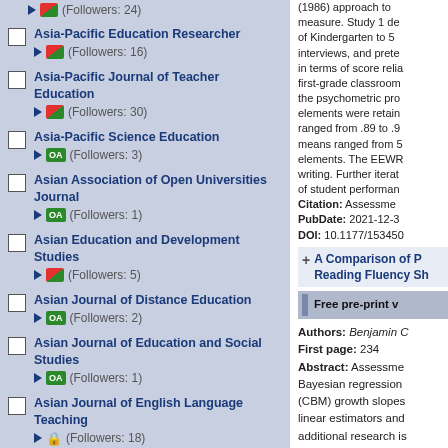(Followers: 24)
Asia-Pacific Education Researcher (Followers: 16)
Asia-Pacific Journal of Teacher Education (Followers: 30)
Asia-Pacific Science Education (Followers: 3)
Asian Association of Open Universities Journal OA (Followers: 1)
Asian Education and Development Studies (Followers: 5)
Asian Journal of Distance Education OA (Followers: 2)
Asian Journal of Education and Social Studies OA (Followers: 1)
Asian Journal of English Language Teaching (Followers: 18)
Asian Journal of Legal Education (Followers: 3)
Asian-Pacific Journal of Second
(1986) approach to measure. Study 1 de of Kindergarten to 5 interviews, and prete in terms of score relia first-grade classroom the psychometric pro elements were retain ranged from .89 to .9 means ranged from 5 elements. The EEWR writing. Further iterat of student performan Citation: Assessment PubDate: 2021-12-3 DOI: 10.1177/153450
A Comparison of P Reading Fluency Sh
Free pre-print v
Authors: Benjamin C First page: 234 Abstract: Assessment Bayesian regression (CBM) growth slopes linear estimators and additional research is current study evaluat residuals, two values